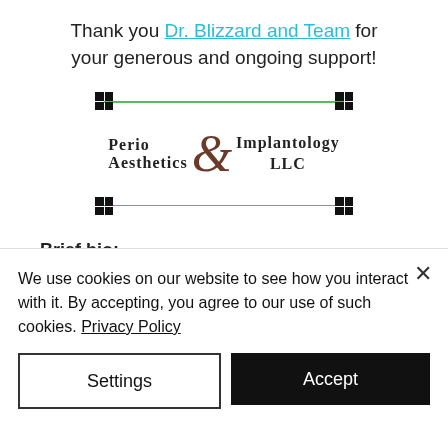Thank you Dr. Blizzard and Team for your generous and ongoing support!
[Figure (logo): Perio Aesthetics & Implantology LLC logo inside a green-bordered rectangle with black corner markers]
Brief bio:
Dr. Blizzard practiced in Peachtree City, and Griffin, Georgia and in 2002, she
We use cookies on our website to see how you interact with it. By accepting, you agree to our use of such cookies. Privacy Policy
Settings
Accept